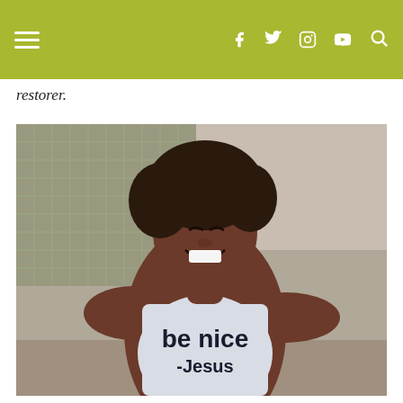Navigation bar with hamburger menu and social icons (Facebook, Twitter, Instagram, YouTube, Search)
restorer.
[Figure (photo): A smiling Black woman with curly hair wearing a white sleeveless tank top that reads 'be nice -Jesus', photographed outdoors against a chain-link fence background.]